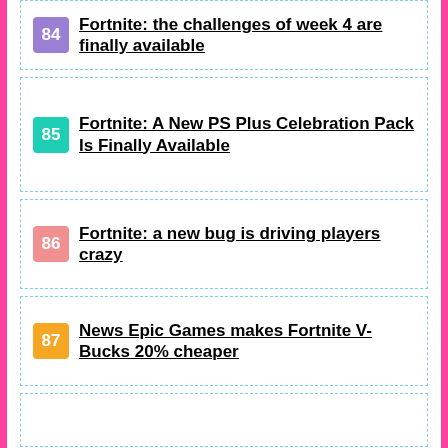84 Fortnite: the challenges of week 4 are finally available
85 Fortnite: A New PS Plus Celebration Pack Is Finally Available
86 Fortnite: a new bug is driving players crazy
87 News Epic Games makes Fortnite V-Bucks 20% cheaper
88 (partial)